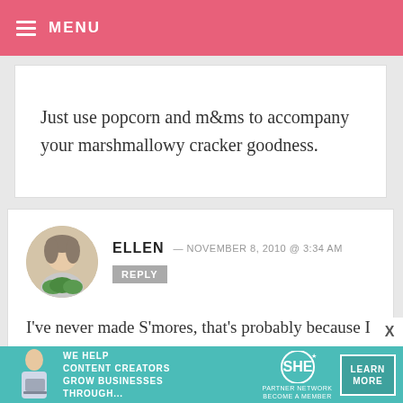MENU
Just use popcorn and m&ms to accompany your marshmallowy cracker goodness.
ELLEN — NOVEMBER 8, 2010 @ 3:34 AM REPLY
I've never made S'mores, that's probably because I live in Holland, haha. They've come to my attention not so long ago though. Thanks for the write-up! I will be making these
[Figure (photo): Profile photo of commenter Ellen - woman holding green plants, circular avatar]
[Figure (infographic): SHE Partner Network advertisement banner - teal background with woman holding laptop, text: WE HELP CONTENT CREATORS GROW BUSINESSES THROUGH... SHE PARTNER NETWORK BECOME A MEMBER, with LEARN MORE button]